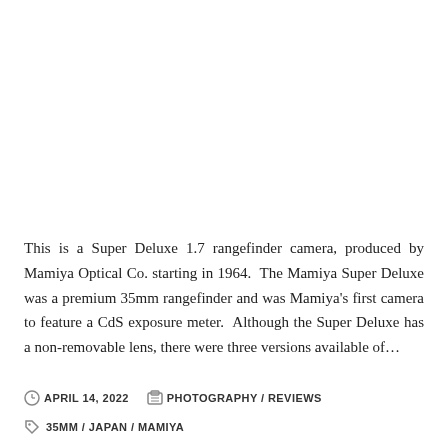[Figure (photo): Blank white image area at top of page (image not loaded or white background)]
This is a Super Deluxe 1.7 rangefinder camera, produced by Mamiya Optical Co. starting in 1964.  The Mamiya Super Deluxe was a premium 35mm rangefinder and was Mamiya's first camera to feature a CdS exposure meter.  Although the Super Deluxe has a non-removable lens, there were three versions available of…
APRIL 14, 2022   PHOTOGRAPHY / REVIEWS
35MM / JAPAN / MAMIYA